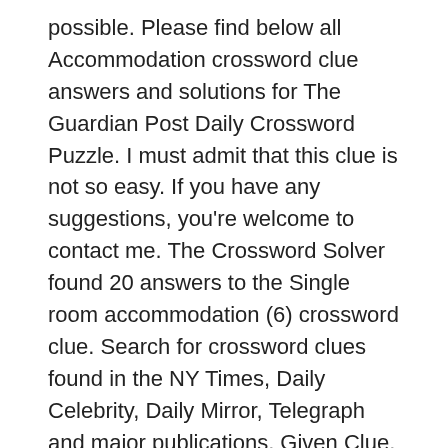possible. Please find below all Accommodation crossword clue answers and solutions for The Guardian Post Daily Crossword Puzzle. I must admit that this clue is not so easy. If you have any suggestions, you're welcome to contact me. The Crossword Solver found 20 answers to the Single room accommodation (6) crossword clue. Search for crossword clues found in the NY Times, Daily Celebrity, Daily Mirror, Telegraph and major publications. Given Clue. Tell us as much as you can about a clue you are stuck on and we will find all matching items in our database of over 504,257 words and phrases! 8 letter answer(s) to accommodation for horses Answers for STRUGGLING FOR IDEA, AS PREVIOUSLY MENTIONED crossword clue. Accommodation abbreviation is a crossword puzzle